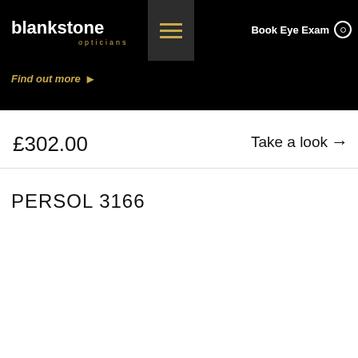blankstone opticians
Find out more →
Book Eye Exam
£302.00
Take a look →
PERSOL 3166